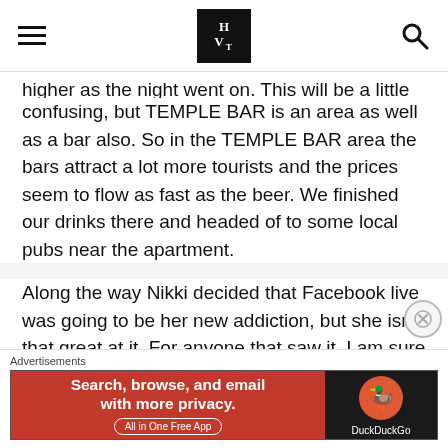HVT (logo) — navigation header with hamburger menu and search icon
higher as the night went on.  This will be a little confusing, but TEMPLE BAR is an area as well as a bar also.  So in the TEMPLE BAR area the bars attract a lot more tourists and the prices seem to flow as fast as the beer.  We finished our drinks there and headed of to some local pubs near the apartment.
Along the way Nikki decided that Facebook live was going to be her new addiction, but she isn't that great at it.  For anyone that saw it, I am sure it was hilarious, after re watching it I laughed probably as much as you all did.  This continued on even when we reached L.
[Figure (other): DuckDuckGo advertisement banner: orange/red background with text 'Search, browse, and email with more privacy. All in One Free App' and DuckDuckGo logo on dark background]
Advertisements